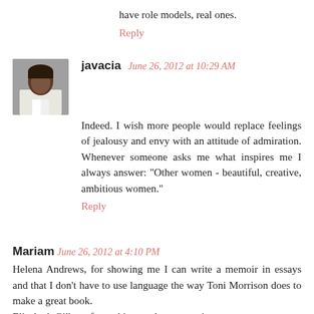have role models, real ones.
Reply
javacia   June 26, 2012 at 10:29 AM
Indeed. I wish more people would replace feelings of jealousy and envy with an attitude of admiration. Whenever someone asks me what inspires me I always answer: "Other women - beautiful, creative, ambitious women."
Reply
Mariam   June 26, 2012 at 4:10 PM
Helena Andrews, for showing me I can write a memoir in essays and that I don't have to use language the way Toni Morrison does to make a great book.
Elizabeth Gilbert, for making me love memoir.
Nora Ephron, for reminding me that yes, I can be a journalist, a novelist, a memoirist, an essayist, a screenwriter and a playwright all in one lifetime.
And Shonda Rhimes, for reminding the world that women oversee the creative direction of a show, it's